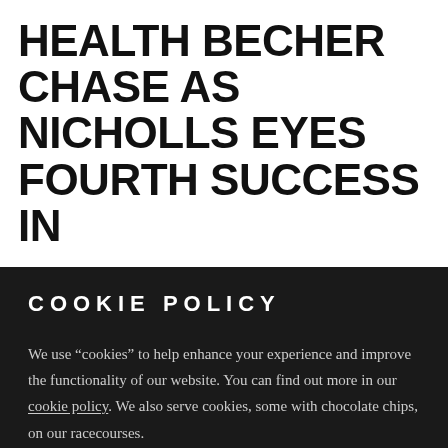HEALTH BECHER CHASE AS NICHOLLS EYES FOURTH SUCCESS IN
COOKIE POLICY
We use “cookies” to help enhance your experience and improve the functionality of our website. You can find out more in our cookie policy. We also serve cookies, some with chocolate chips, on our racecourses.
OK. GOT IT.